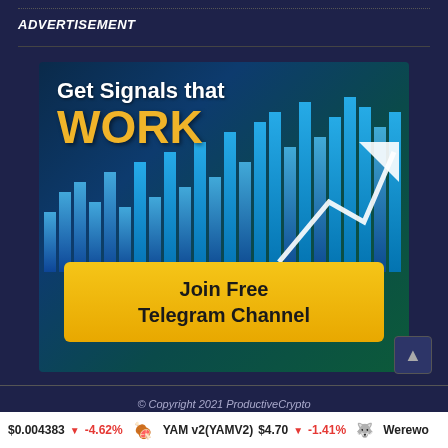ADVERTISEMENT
[Figure (illustration): Cryptocurrency trading signals advertisement banner with bar chart graphic, upward arrow, golden 'WORK' text, and 'Join Free Telegram Channel' button]
© Copyright 2021 ProductiveCrypto
$0.004383 -4.62%   YAM v2(YAMV2) $4.70 -1.41%   Werew...